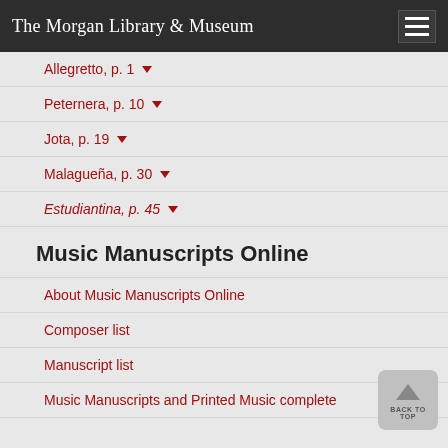The Morgan Library & Museum
Allegretto, p. 1
Peternera, p. 10
Jota, p. 19
Malagueña, p. 30
Estudiantina, p. 45
Music Manuscripts Online
About Music Manuscripts Online
Composer list
Manuscript list
Music Manuscripts and Printed Music complete holding